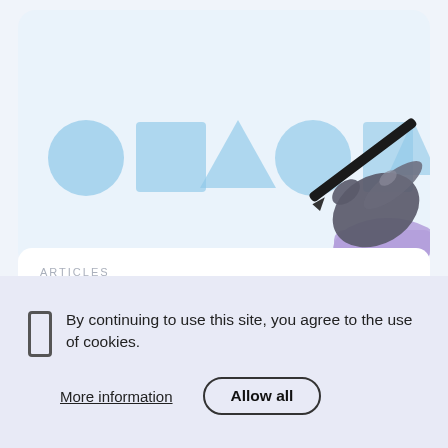[Figure (illustration): Light blue card with geometric shapes (circle, square, triangle, circle, square, triangle) in pale blue, and a hand holding a pen/pencil on the right side.]
ARTICLES
A Guide to Plain Language
Adhering to plain language principles is
By continuing to use this site, you agree to the use of cookies.
More information
Allow all